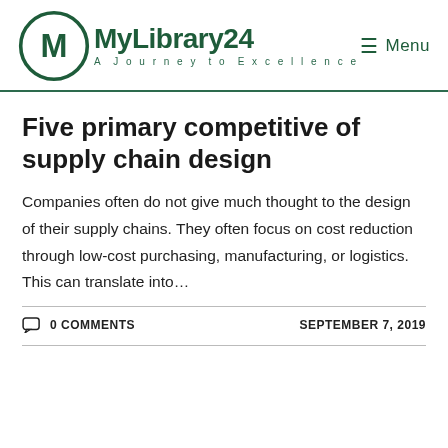MyLibrary24 — A Journey to Excellence | Menu
Five primary competitive of supply chain design
Companies often do not give much thought to the design of their supply chains. They often focus on cost reduction through low-cost purchasing, manufacturing, or logistics. This can translate into…
0 COMMENTS   SEPTEMBER 7, 2019